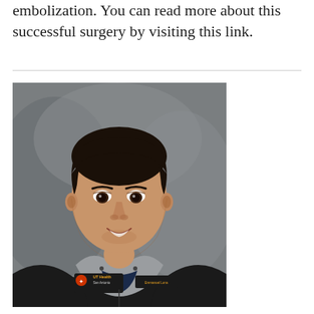embolization. You can read more about this successful surgery by visiting this link.
[Figure (photo): Professional headshot of a young Hispanic male doctor wearing a black UT Health San Antonio jacket with name badge reading 'Emmanuel Luna', smiling against a grey background.]